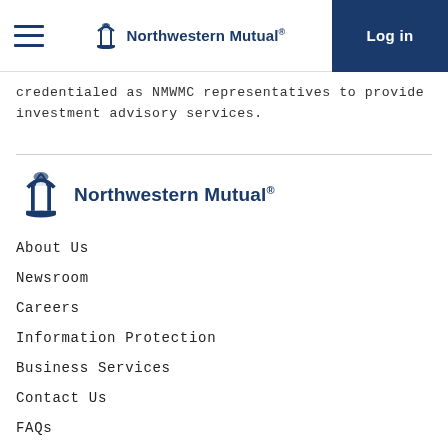Northwestern Mutual | Log in
credentialed as NMWMC representatives to provide investment advisory services.
[Figure (logo): Northwestern Mutual logo in footer area]
About Us
Newsroom
Careers
Information Protection
Business Services
Contact Us
FAQs